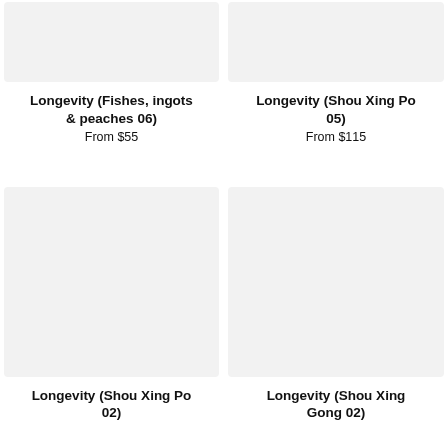[Figure (photo): Product image placeholder for Longevity (Fishes, ingots & peaches 06) - light gray rectangle]
Longevity (Fishes, ingots & peaches 06)
From $55
[Figure (photo): Product image placeholder for Longevity (Shou Xing Po 05) - light gray rectangle]
Longevity (Shou Xing Po 05)
From $115
[Figure (photo): Product image placeholder for Longevity (Shou Xing Po 02) - light gray rectangle]
Longevity (Shou Xing Po 02)
[Figure (photo): Product image placeholder for Longevity (Shou Xing Gong 02) - light gray rectangle]
Longevity (Shou Xing Gong 02)